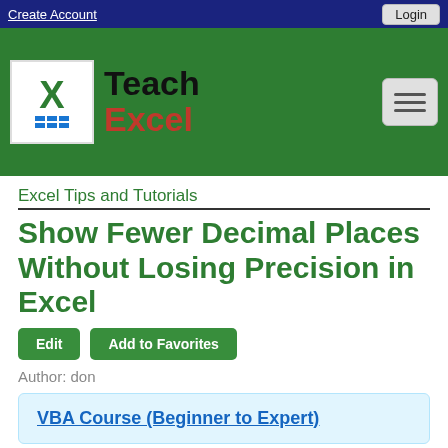Create Account   Login
[Figure (logo): Teach Excel logo with green X and brand name]
Excel Tips and Tutorials
Show Fewer Decimal Places Without Losing Precision in Excel
Edit   Add to Favorites
Author: don
VBA Course (Beginner to Expert)
How to show a smaller number that looks better without sacrificing decimal places or precision in th